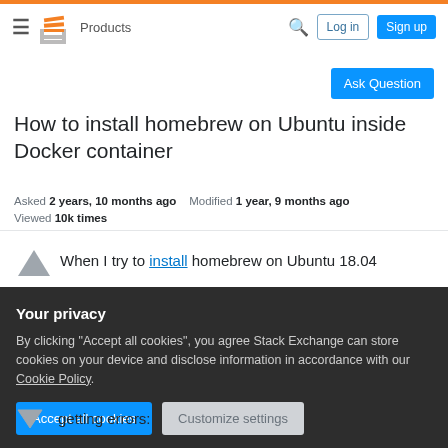≡  [Stack Overflow logo]  Products  🔍  Log in  Sign up
Ask Question
How to install homebrew on Ubuntu inside Docker container
Asked 2 years, 10 months ago  Modified 1 year, 9 months ago  Viewed 10k times
When I try to install homebrew on Ubuntu 18.04
Your privacy
By clicking "Accept all cookies", you agree Stack Exchange can store cookies on your device and disclose information in accordance with our Cookie Policy.
[Accept all cookies]  [Customize settings]
getting errors: